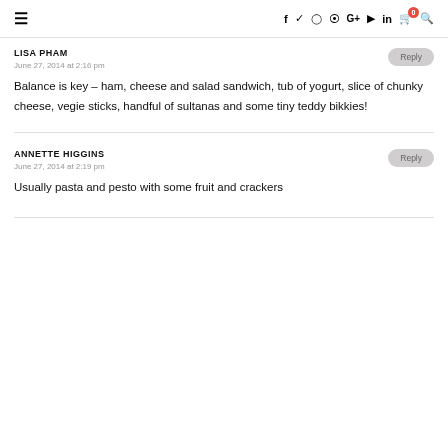Navigation bar with hamburger menu and social icons: f, twitter, instagram, pinterest, G+, youtube, linkedin, cart (0), search
LISA PHAM
June 27, 2014 at 2:16 pm
Balance is key – ham, cheese and salad sandwich, tub of yogurt, slice of chunky cheese, vegie sticks, handful of sultanas and some tiny teddy bikkies!
ANNETTE HIGGINS
June 27, 2014 at 2:19 pm
Usually pasta and pesto with some fruit and crackers